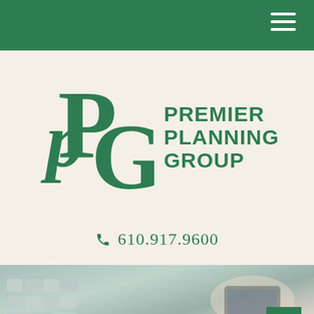Premier Planning Group navigation header with hamburger menu
[Figure (logo): Premier Planning Group logo: PPG monogram in dark green serif letters alongside text 'PREMIER PLANNING GROUP' in bold green sans-serif capitals]
610.917.9600
[Figure (photo): Photo of hands using a calculator and smartphone, with a laptop keyboard visible, suggesting financial planning activity]
[Figure (other): Scroll to top button (green square with upward chevron arrow) in bottom right corner]